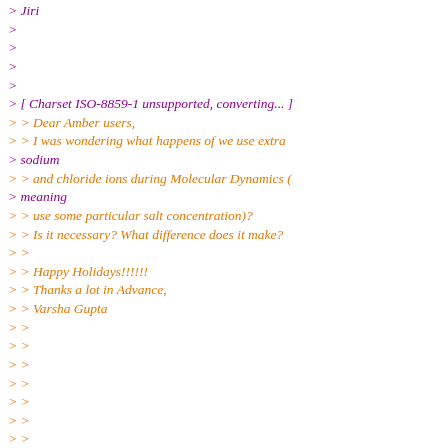> Jiri
>
>
>
>
> [ Charset ISO-8859-1 unsupported, converting... ]
> > Dear Amber users,
> > I was wondering what happens of we use extra
> sodium
> > and chloride ions during Molecular Dynamics (
> meaning
> > use some particular salt concentration)?
> > Is it necessary? What difference does it make?
> >
> > Happy Holidays!!!!!!
> > Thanks a lot in Advance,
> > Varsha Gupta
> >
> >
> >
> >
> >
> >
> >
> >
> >